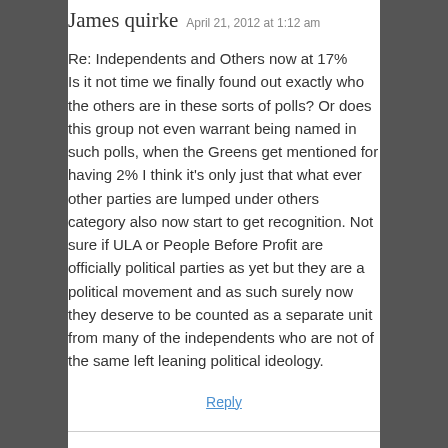James quirke  April 21, 2012 at 1:12 am
Re: Independents and Others now at 17%
Is it not time we finally found out exactly who the others are in these sorts of polls? Or does this group not even warrant being named in such polls, when the Greens get mentioned for having 2% I think it's only just that what ever other parties are lumped under others category also now start to get recognition. Not sure if ULA or People Before Profit are officially political parties as yet but they are a political movement and as such surely now they deserve to be counted as a separate unit from many of the independents who are not of the same left leaning political ideology.
Reply
Brian Woods  April 21, 2012 at 7:10 am